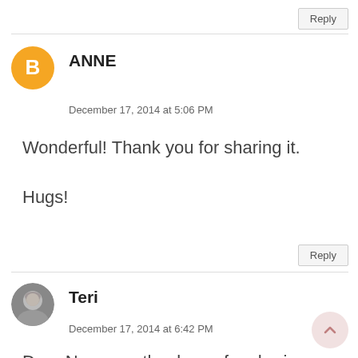Reply
[Figure (illustration): Orange circle Blogger avatar icon with letter B]
ANNE
December 17, 2014 at 5:06 PM
Wonderful! Thank you for sharing it.

Hugs!
Reply
[Figure (photo): Circular photo avatar of Teri, an older woman with short gray hair]
Teri
December 17, 2014 at 6:42 PM
Dear Nancy … thank you for sharing.